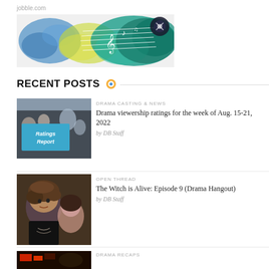jobble.com
[Figure (illustration): Colorful music-themed banner with watercolor blues, greens and yellows, musical staff lines, notes, and a vinyl record icon]
RECENT POSTS
[Figure (photo): Thumbnail image: Korean drama students in a classroom with a blue overlay box reading 'Ratings Report' in italic white text]
DRAMA CASTING & NEWS
Drama viewership ratings for the week of Aug. 15-21, 2022
by DB Staff
[Figure (photo): Thumbnail image: Two young people from a Korean drama, a boy with messy brown hair in foreground, a girl behind him]
OPEN THREAD
The Witch is Alive: Episode 9 (Drama Hangout)
by DB Staff
[Figure (photo): Thumbnail image: Dark scene from a Korean drama, partially visible]
DRAMA RECAPS